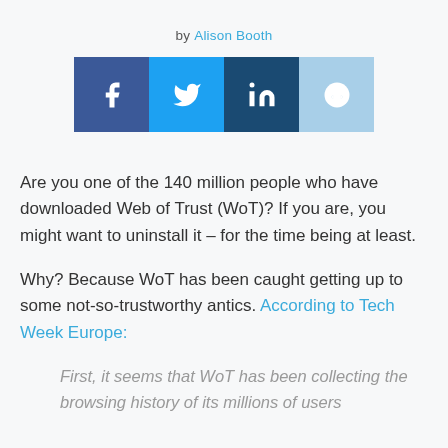by Alison Booth
[Figure (other): Social sharing buttons: Facebook, Twitter, LinkedIn, Reddit]
Are you one of the 140 million people who have downloaded Web of Trust (WoT)? If you are, you might want to uninstall it – for the time being at least.
Why? Because WoT has been caught getting up to some not-so-trustworthy antics. According to Tech Week Europe:
First, it seems that WoT has been collecting the browsing history of its millions of users